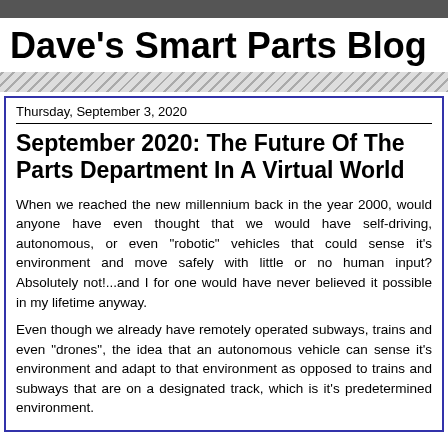Dave's Smart Parts Blog
Thursday, September 3, 2020
September 2020: The Future Of The Parts Department In A Virtual World
When we reached the new millennium back in the year 2000, would anyone have even thought that we would have self-driving, autonomous, or even "robotic" vehicles that could sense it's environment and move safely with little or no human input? Absolutely not!...and I for one would have never believed it possible in my lifetime anyway.
Even though we already have remotely operated subways, trains and even "drones", the idea that an autonomous vehicle can sense it's environment and adapt to that environment as opposed to trains and subways that are on a designated track, which is it's predetermined environment.